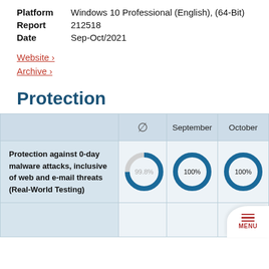Platform   Windows 10 Professional (English), (64-Bit)
Report   212518
Date   Sep-Oct/2021
Website ›
Archive ›
Protection
|  | Ø | September | October |
| --- | --- | --- | --- |
| Protection against 0-day malware attacks, inclusive of web and e-mail threats (Real-World Testing) | 99.8% | 100% | 100% |